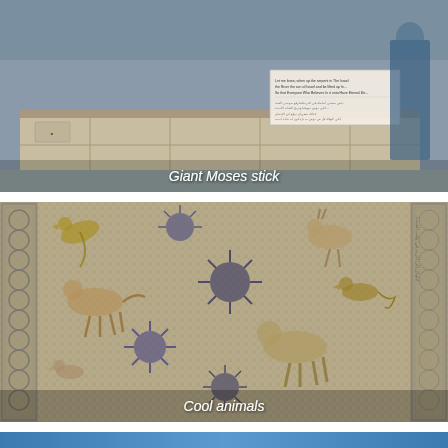[Figure (photo): Photograph of a large stone monument or base with a sign/plaque on it, showing text in English and Arabic. Several people visible in background. Appears to be an outdoor religious or historical site. Caption reads 'Giant Moses stick'.]
Giant Moses stick
[Figure (photo): Photograph of an ancient mosaic floor featuring various animals (birds, deer, horses, and other creatures) surrounded by decorative floral and vine motifs. The mosaic has an ornate border. Caption reads 'Cool animals'.]
Cool animals
[Figure (photo): A blue horizontal strip/banner at the bottom of the page, partially visible.]